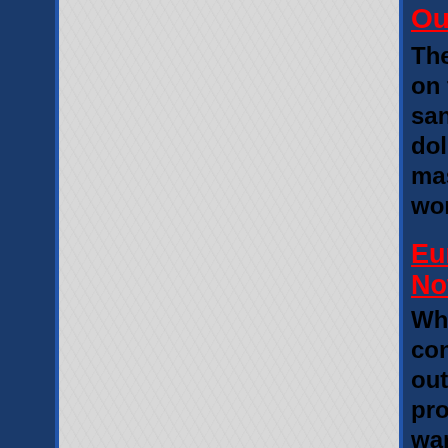Our Tables
The US and EU are deluding on the likely efectiveness of sanctions. The end result of dollarization of the global massive commodity shortage worldwide...
Europe's Depleted Gas Sto Not Get Refilled Ahead Of
While mainstream news re conflict in Ukraine continu out a torrent of anri - Russ propaganda the catastrop war that could so easily ha avoided are not mentioned would warmongering gov